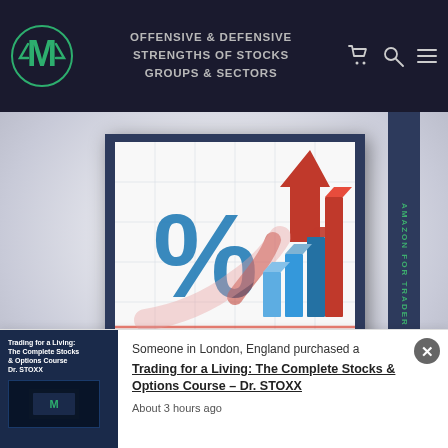OFFENSIVE & DEFENSIVE STRENGTHS OF STOCKS GROUPS & SECTORS
[Figure (illustration): Book cover showing a percentage sign and rising red arrow with blue bar chart on a grid background. Dark blue cover with financial trading theme.]
Someone in London, England purchased a
Trading for a Living: The Complete Stocks & Options Course – Dr. STOXX
About 3 hours ago